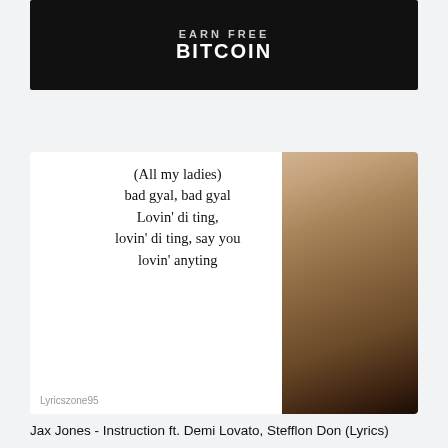[Figure (screenshot): Dark banner advertisement with text EARN FREE BITCOIN on black background with circular pattern]
[Figure (screenshot): Lyrics card image showing handwritten-style lyrics '(All my ladies) bad gyal, bad gyal Lovin' di ting, lovin' di ting, say you lovin' anyting' with Lyricszone95 watermark, next to a photo of a woman with long dark hair]
Jax Jones - Instruction ft. Demi Lovato, Stefflon Don (Lyrics)